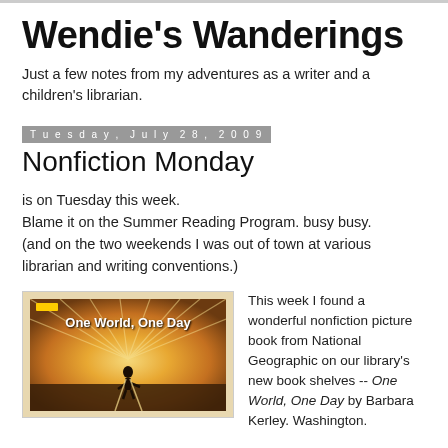Wendie's Wanderings
Just a few notes from my adventures as a writer and a children's librarian.
Tuesday, July 28, 2009
Nonfiction Monday
is on Tuesday this week.
Blame it on the Summer Reading Program. busy busy.
(and on the two weekends I was out of town at various librarian and writing conventions.)
[Figure (photo): Book cover of 'One World, One Day' — a child silhouetted against a bright golden sunburst landscape with the title text overlaid in white.]
This week I found a wonderful nonfiction picture book from National Geographic on our library's new book shelves -- One World, One Day by Barbara Kerley. Washington.